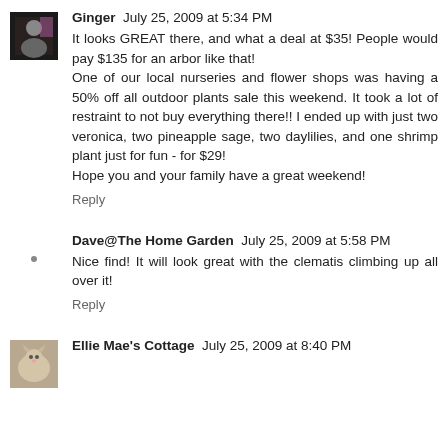[Figure (photo): Small avatar photo of Ginger, showing a person in dark clothing with a pinkish-purple background]
Ginger  July 25, 2009 at 5:34 PM
It looks GREAT there, and what a deal at $35! People would pay $135 for an arbor like that!
One of our local nurseries and flower shops was having a 50% off all outdoor plants sale this weekend. It took a lot of restraint to not buy everything there!! I ended up with just two veronica, two pineapple sage, two daylilies, and one shrimp plant just for fun - for $29!
Hope you and your family have a great weekend!
Reply
Dave@The Home Garden  July 25, 2009 at 5:58 PM
Nice find! It will look great with the clematis climbing up all over it!
Reply
[Figure (photo): Small avatar photo of Ellie Mae's Cottage, showing a light-colored pet or animal]
Ellie Mae's Cottage  July 25, 2009 at 8:40 PM